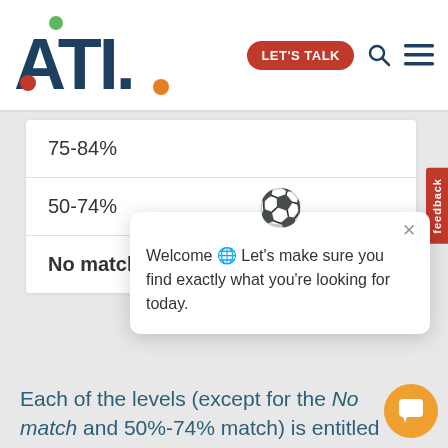[Figure (logo): ATL logo with colored dots and navigation header including LET'S TALK button, search icon, and hamburger menu]
| 75-84% |
| 50-74% |
| No match |
[Figure (screenshot): Chat popup bubble with globe emoji and text: Welcome Let's make sure you find exactly what you're looking for today.]
Each of the levels (except for the No match and 50%-74% match) is entitled